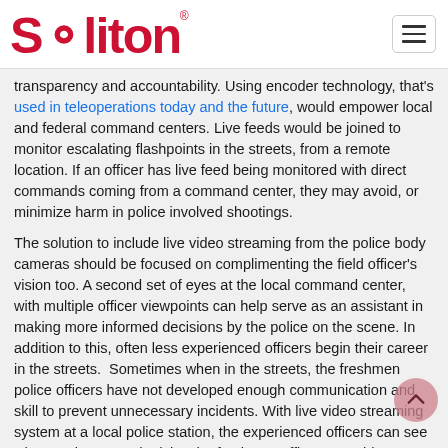Soliton
transparency and accountability. Using encoder technology, that's used in teleoperations today and the future, would empower local and federal command centers. Live feeds would be joined to monitor escalating flashpoints in the streets, from a remote location. If an officer has live feed being monitored with direct commands coming from a command center, they may avoid, or minimize harm in police involved shootings.
The solution to include live video streaming from the police body cameras should be focused on complimenting the field officer's vision too. A second set of eyes at the local command center, with multiple officer viewpoints can help serve as an assistant in making more informed decisions by the police on the scene. In addition to this, often less experienced officers begin their career in the streets. Sometimes when in the streets, the freshmen police officers have not developed enough communication and skill to prevent unnecessary incidents. With live video streaming system at a local police station, the experienced officers can see what's going on and advise the freshmen officers to achieve better civilian protection tasks.
How Would Live Footage Body Cams Work?